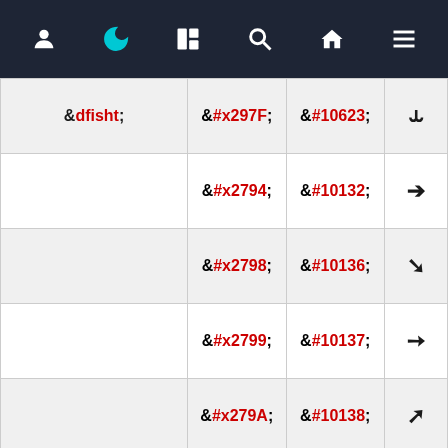[Figure (screenshot): Dark navigation bar with icons: user/profile, crescent moon (active, teal), color palette, search, home, hamburger menu]
| Name | Hex Entity | Dec Entity | Symbol |
| --- | --- | --- | --- |
| &dfisht; | &#x297F; | &#10623; | ⥿ |
|  | &#x2794; | &#10132; | → |
|  | &#x2798; | &#10136; | ↘ |
|  | &#x2799; | &#10137; | → |
|  | &#x279A; | &#10138; | ↗ |
|  |  |  |  |